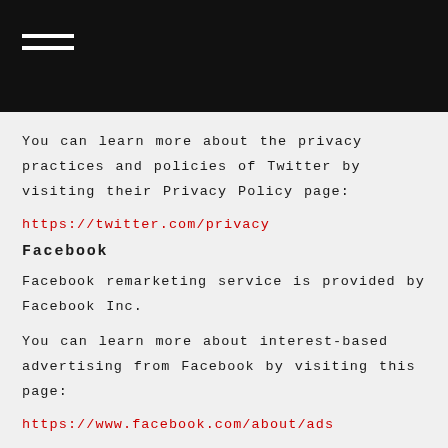You can learn more about the privacy practices and policies of Twitter by visiting their Privacy Policy page:
https://twitter.com/privacy
Facebook
Facebook remarketing service is provided by Facebook Inc.
You can learn more about interest-based advertising from Facebook by visiting this page:
https://www.facebook.com/about/ads...